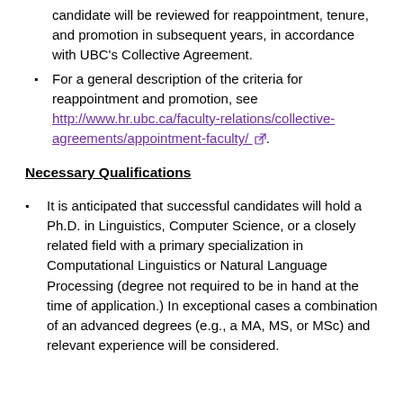candidate will be reviewed for reappointment, tenure, and promotion in subsequent years, in accordance with UBC's Collective Agreement.
For a general description of the criteria for reappointment and promotion, see http://www.hr.ubc.ca/faculty-relations/collective-agreements/appointment-faculty/
Necessary Qualifications
It is anticipated that successful candidates will hold a Ph.D. in Linguistics, Computer Science, or a closely related field with a primary specialization in Computational Linguistics or Natural Language Processing (degree not required to be in hand at the time of application.) In exceptional cases a combination of an advanced degrees (e.g., a MA, MS, or MSc) and relevant experience will be considered.